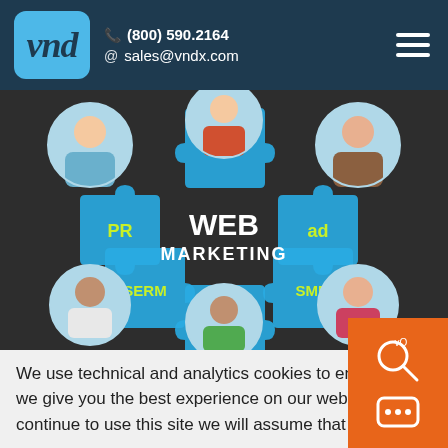vnd | (800) 590.2164 | sales@vndx.com
[Figure (illustration): Web marketing infographic with puzzle pieces labeled SEO, PR, ad, SERM, SMM, SMO surrounding 'WEB MARKETING' text in center, with circular avatar portraits at corners]
We use technical and analytics cookies to ensure that we give you the best experience on our website. If you continue to use this site we will assume that you